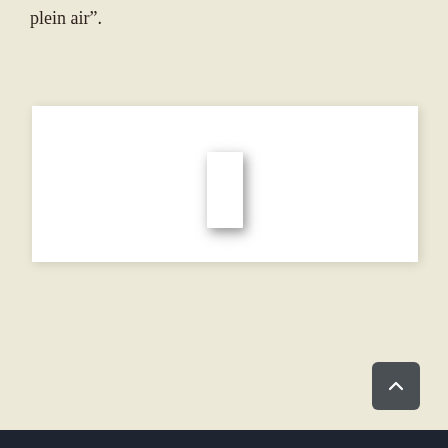plein air”.
[Figure (other): A white rectangular panel or book standing upright, centered in a white content area with subtle drop shadow, set against a cream/beige background.]